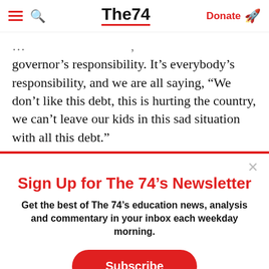The74 — Donate
governor's responsibility. It's everybody's responsibility, and we are all saying, "We don't like this debt, this is hurting the country, we can't leave our kids in this sad situation with all this debt."
Sign Up for The 74's Newsletter
Get the best of The 74's education news, analysis and commentary in your inbox each weekday morning.
Subscribe